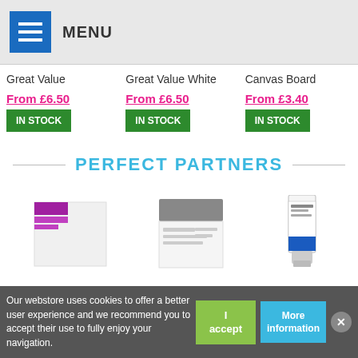MENU
Great Value
From £6.50
IN STOCK
Great Value White
From £6.50
IN STOCK
Canvas Board
From £3.40
IN STOCK
PERFECT PARTNERS
[Figure (photo): Product image 1 - canvas/art supply with purple label]
[Figure (photo): Product image 2 - grey packaged art supply]
[Figure (photo): Product image 3 - Winsor & Newton Artisan oil colour tube]
Our webstore uses cookies to offer a better user experience and we recommend you to accept their use to fully enjoy your navigation.
I accept
More information